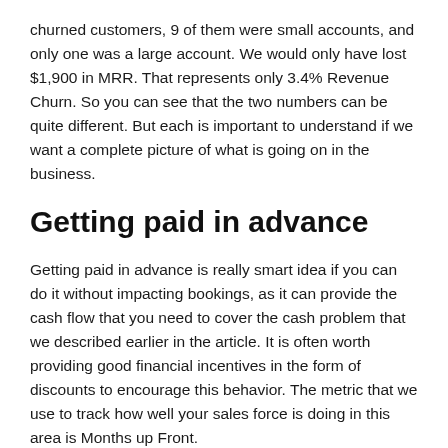churned customers, 9 of them were small accounts, and only one was a large account. We would only have lost $1,900 in MRR. That represents only 3.4% Revenue Churn. So you can see that the two numbers can be quite different. But each is important to understand if we want a complete picture of what is going on in the business.
Getting paid in advance
Getting paid in advance is really smart idea if you can do it without impacting bookings, as it can provide the cash flow that you need to cover the cash problem that we described earlier in the article. It is often worth providing good financial incentives in the form of discounts to encourage this behavior. The metric that we use to track how well your sales force is doing in this area is Months up Front.
Getting paid more upfront usually also helps lower churn. This happens because the customer has made a greater